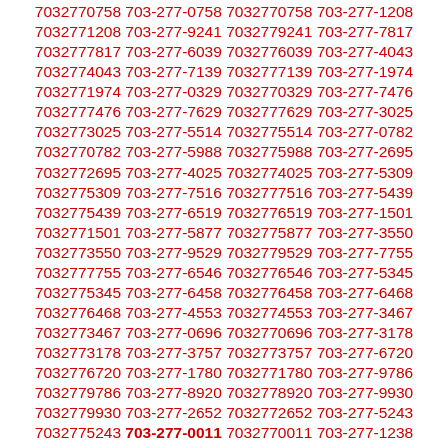7032770758 703-277-0758 7032770758 703-277-1208 7032771208 703-277-9241 7032779241 703-277-7817 7032777817 703-277-6039 7032776039 703-277-4043 7032774043 703-277-7139 7032777139 703-277-1974 7032771974 703-277-0329 7032770329 703-277-7476 7032777476 703-277-7629 7032777629 703-277-3025 7032773025 703-277-5514 7032775514 703-277-0782 7032770782 703-277-5988 7032775988 703-277-2695 7032772695 703-277-4025 7032774025 703-277-5309 7032775309 703-277-7516 7032777516 703-277-5439 7032775439 703-277-6519 7032776519 703-277-1501 7032771501 703-277-5877 7032775877 703-277-3550 7032773550 703-277-9529 7032779529 703-277-7755 7032777755 703-277-6546 7032776546 703-277-5345 7032775345 703-277-6458 7032776458 703-277-6468 7032776468 703-277-4553 7032774553 703-277-3467 7032773467 703-277-0696 7032770696 703-277-3178 7032773178 703-277-3757 7032773757 703-277-6720 7032776720 703-277-1780 7032771780 703-277-9786 7032779786 703-277-8920 7032778920 703-277-9930 7032779930 703-277-2652 7032772652 703-277-5243 7032775243 703-277-0011 7032770011 703-277-1238 7032771238 703-277-6332 7032776332 703-277-9624 7032779624 703-277-6502 7032776502 703-277-8541 7032778541 703-277-0207 7032770207 703-277-3510 7032773510 703-277-5494 7032775494 703-277-8748